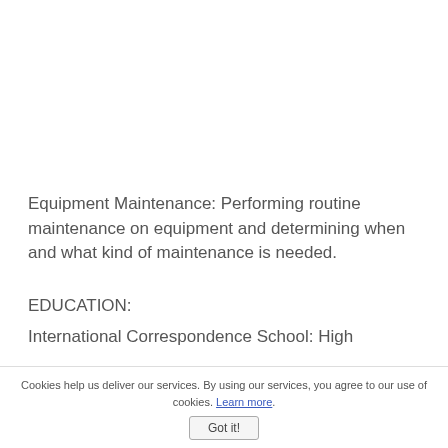Equipment Maintenance: Performing routine maintenance on equipment and determining when and what kind of maintenance is needed.
EDUCATION:
International Correspondence School: High
Cookies help us deliver our services. By using our services, you agree to our use of cookies. Learn more.
Got it!